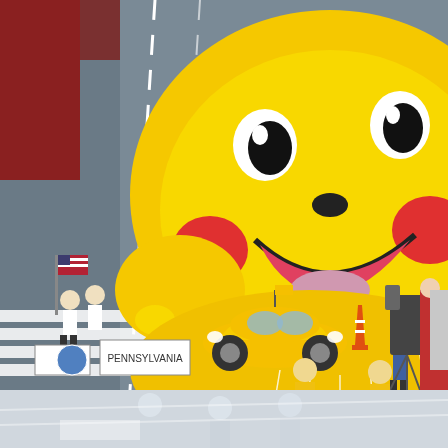[Figure (photo): Aerial view of a Thanksgiving Day parade showing a large yellow Pikachu balloon float being guided down a city street. Below the balloon is a yellow Volkswagen Beetle car. Parade marchers carry an American flag and a Pennsylvania band banner. A camera crew and orange traffic cone are visible on the right side. The street has white crosswalk stripes and lane markings.]
[Figure (photo): Partial bottom strip of what appears to be continuation of the same parade scene, showing more parade participants from an overhead angle, with a lighter/washed out color treatment.]